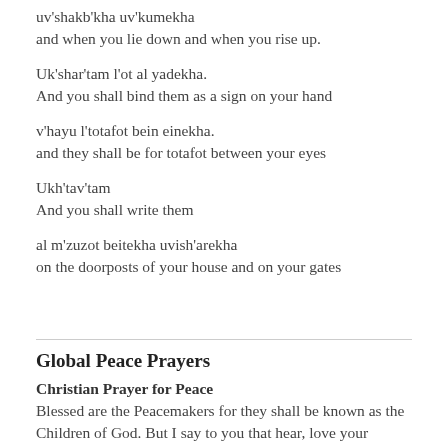uv'shakb'kha uv'kumekha
and when you lie down and when you rise up.
Uk'shar'tam l'ot al yadekha.
And you shall bind them as a sign on your hand
v'hayu l'totafot bein einekha.
and they shall be for totafot between your eyes
Ukh'tav'tam
And you shall write them
al m'zuzot beitekha uvish'arekha
on the doorposts of your house and on your gates
Global Peace Prayers
Christian Prayer for Peace
Blessed are the Peacemakers for they shall be known as the Children of God. But I say to you that hear, love your enemies, do good to those who hate you, bless those who curse you,